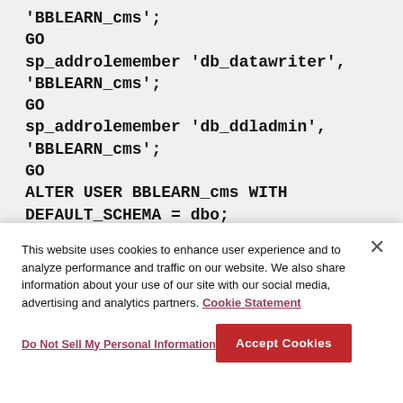'BBLEARN_cms';
GO
sp_addrolemember 'db_datawriter',
'BBLEARN_cms';
GO
sp_addrolemember 'db_ddladmin',
'BBLEARN_cms';
GO
ALTER USER BBLEARN_cms WITH
DEFAULT_SCHEMA = dbo;
GO

USE BBLEARN_db...
This website uses cookies to enhance user experience and to analyze performance and traffic on our website. We also share information about your use of our site with our social media, advertising and analytics partners. Cookie Statement
Do Not Sell My Personal Information
Accept Cookies